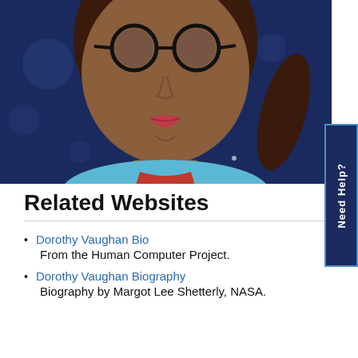[Figure (illustration): Illustrated portrait of a woman (Dorothy Vaughan) with dark skin, round glasses, red lips, dark hair pulled back, wearing a light blue top with red accent and a choker necklace, set against a dark navy blue bokeh background.]
Related Websites
Dorothy Vaughan Bio
From the Human Computer Project.
Dorothy Vaughan Biography
Biography by Margot Lee Shetterly, NASA.